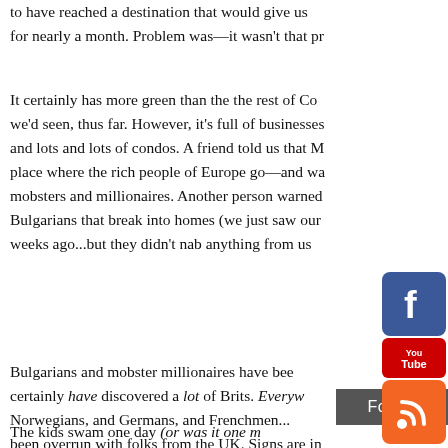to have reached a destination that would give us for nearly a month. Problem was—it wasn't that pr
It certainly has more green than the the rest of Co we'd seen, thus far. However, it's full of businesses and lots and lots of condos. A friend told us that M place where the rich people of Europe go—and wa mobsters and millionaires. Another person warned Bulgarians that break into homes (we just saw our weeks ago...but they didn't nab anything from us
[Figure (logo): Facebook logo icon - blue background with white 'f']
[Figure (logo): YouTube logo icon - red background with 'You Tube' text]
[Figure (logo): RSS feed icon - orange background with white RSS symbol]
Bulgarians and mobster millionaires have bee certainly have discovered a lot of Brits. Everyw Norwegians, and Germans, and Frenchmen... been overrun with folks from the UK. Signs are in English is the first go-to language that you hear. T to find a rental, as the Brits come and go from the and we managed to find a great apartment to rent We made sure it had a pool, and we weren't too fa
The kids swam one day (or was it one m
[Figure (other): Follow button - dark grey bar with white 'Follow' text]